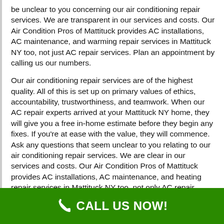be unclear to you concerning our air conditioning repair services. We are transparent in our services and costs. Our Air Condition Pros of Mattituck provides AC installations, AC maintenance, and warming repair services in Mattituck NY too, not just AC repair services. Plan an appointment by calling us our numbers.
Our air conditioning repair services are of the highest quality. All of this is set up on primary values of ethics, accountability, trustworthiness, and teamwork. When our AC repair experts arrived at your Mattituck NY home, they will give you a free in-home estimate before they begin any fixes. If you're at ease with the value, they will commence. Ask any questions that seem unclear to you relating to our air conditioning repair services. We are clear in our services and costs. Our Air Condition Pros of Mattituck provides AC installations, AC maintenance, and heating repair services in Mattituck NY too, not only AC repair services. Have
CALL US NOW!